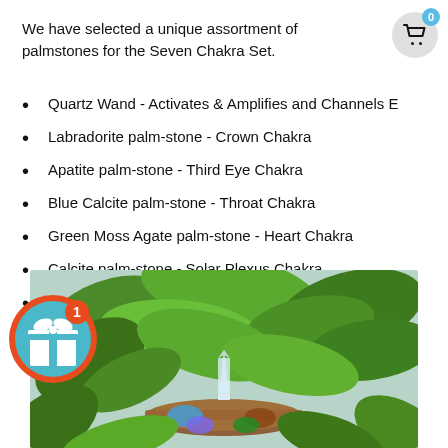We have selected a unique assortment of palmstones for the Seven Chakra Set.
Quartz Wand - Activates & Amplifies and Channels E
Labradorite palm-stone - Crown Chakra
Apatite palm-stone - Third Eye Chakra
Blue Calcite palm-stone - Throat Chakra
Green Moss Agate palm-stone - Heart Chakra
Calcite palm-stone - Solar Plexus Chakra
an palm-stone - Sacral Chakra
oonstone palm-stone - Root Chakra
[Figure (photo): Photo of green tropical plants with a crystal quartz wand and colorful crystal palm-stones on a wooden tray]